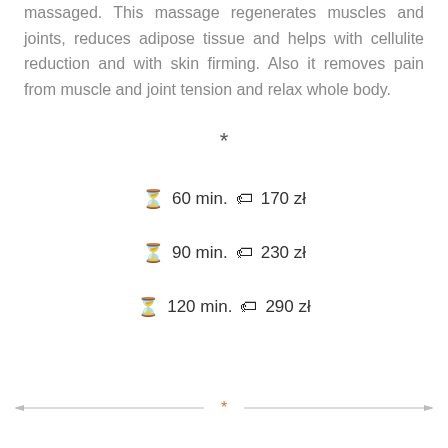massaged. This massage regenerates muscles and joints, reduces adipose tissue and helps with cellulite reduction and with skin firming. Also it removes pain from muscle and joint tension and relax whole body.
*
⌛ 60 min. 🏷 170 zł
⌛ 90 min. 🏷 230 zł
⌛ 120 min. 🏷 290 zł
[Figure (other): Decorative horizontal divider line with asterisk in center, orange asterisk symbol]